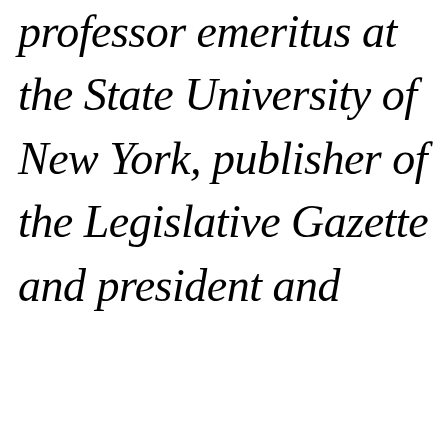professor emeritus at the State University of New York, publisher of the Legislative Gazette and president and